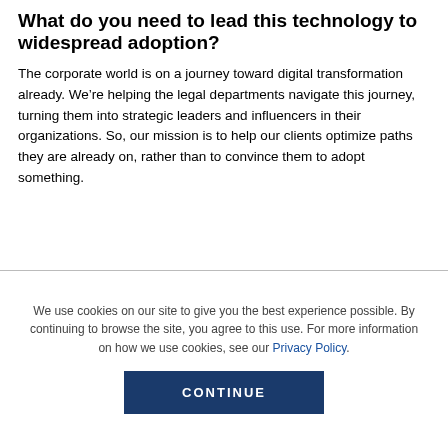What do you need to lead this technology to widespread adoption?
The corporate world is on a journey toward digital transformation already. We're helping the legal departments navigate this journey, turning them into strategic leaders and influencers in their organizations. So, our mission is to help our clients optimize paths they are already on, rather than to convince them to adopt something.
We use cookies on our site to give you the best experience possible. By continuing to browse the site, you agree to this use. For more information on how we use cookies, see our Privacy Policy.
CONTINUE